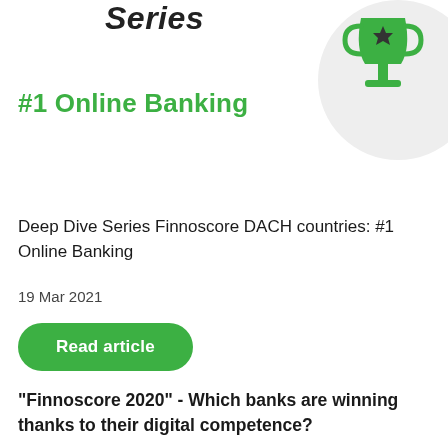Series
[Figure (illustration): Green trophy icon with a star, on a light grey circular background, positioned top-right]
#1 Online Banking
Deep Dive Series Finnoscore DACH countries: #1 Online Banking
19 Mar 2021
Read article
“Finnoscore 2020” - Which banks are winning thanks to their digital competence?